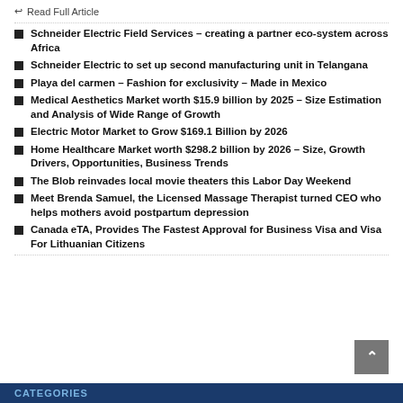↩ Read Full Article
Schneider Electric Field Services – creating a partner eco-system across Africa
Schneider Electric to set up second manufacturing unit in Telangana
Playa del carmen – Fashion for exclusivity – Made in Mexico
Medical Aesthetics Market worth $15.9 billion by 2025 – Size Estimation and Analysis of Wide Range of Growth
Electric Motor Market to Grow $169.1 Billion by 2026
Home Healthcare Market worth $298.2 billion by 2026 – Size, Growth Drivers, Opportunities, Business Trends
The Blob reinvades local movie theaters this Labor Day Weekend
Meet Brenda Samuel, the Licensed Massage Therapist turned CEO who helps mothers avoid postpartum depression
Canada eTA, Provides The Fastest Approval for Business Visa and Visa For Lithuanian Citizens
CATEGORIES